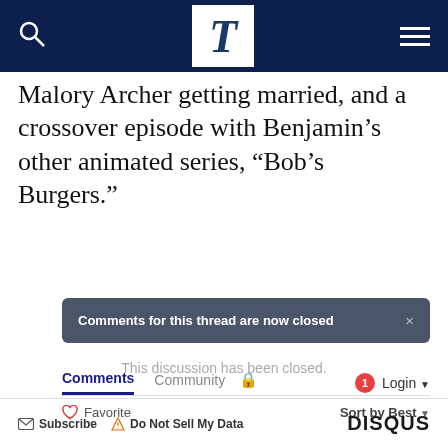T (logo / navigation bar)
Malory Archer getting married, and a crossover episode with Benjamin’s other animated series, “Bob’s Burgers.”
Comments for this thread are now closed
Comments  Community  🔒  1  Login ▾
♥ Favorite    Sort by Best ▾
This discussion has been closed.
✉ Subscribe  ⚠ Do Not Sell My Data    DISQUS